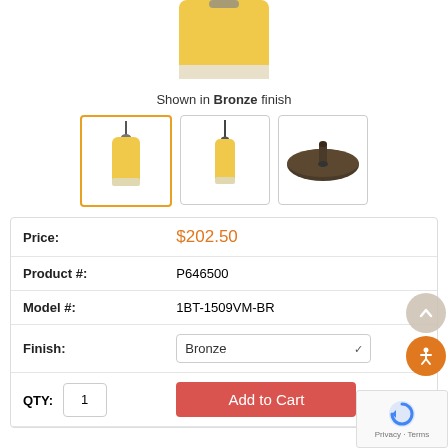[Figure (photo): Top portion of a pendant lamp with yellow/amber glass shade shown cropped at top of page]
Shown in Bronze finish
[Figure (photo): Three product thumbnail images: first (active/selected) shows full pendant lamp with yellow shade and bronze hardware, second shows lamp from different angle, third shows bronze ceiling canopy/mounting plate]
| Price: | $202.50 |
| Product #: | P646500 |
| Model #: | 1BT-1509VM-BR |
| Finish: | Bronze |
| QTY: 1 | Add to Cart |